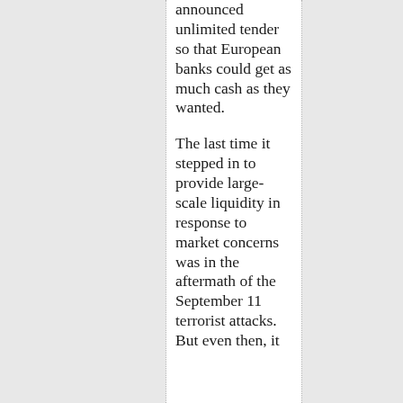announced unlimited tender so that European banks could get as much cash as they wanted.

The last time it stepped in to provide large-scale liquidity in response to market concerns was in the aftermath of the September 11 terrorist attacks. But even then, it